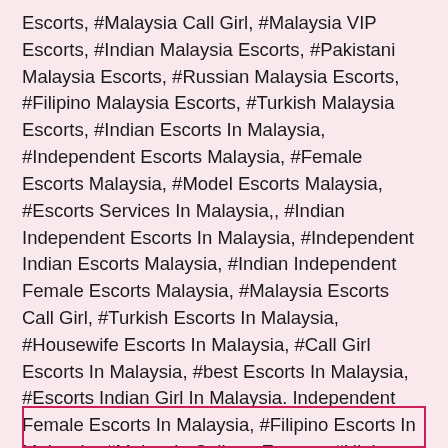Escorts, #Malaysia Call Girl, #Malaysia VIP Escorts, #Indian Malaysia Escorts, #Pakistani Malaysia Escorts, #Russian Malaysia Escorts, #Filipino Malaysia Escorts, #Turkish Malaysia Escorts, #Indian Escorts In Malaysia, #Independent Escorts Malaysia, #Female Escorts Malaysia, #Model Escorts Malaysia, #Escorts Services In Malaysia,, #Indian Independent Escorts In Malaysia, #Independent Indian Escorts Malaysia, #Indian Independent Female Escorts Malaysia, #Malaysia Escorts Call Girl, #Turkish Escorts In Malaysia, #Housewife Escorts In Malaysia, #Call Girl Escorts In Malaysia, #best Escorts In Malaysia, #Escorts Indian Girl In Malaysia. Independent Female Escorts In Malaysia, #Filipino Escorts In Malaysia, #Malaysia College Escorts, #High Profile Escorts In Malaysia, #Indian Air-Hostess Escorts In Malaysia, #Hi Class Escorts Girl In Malaysia.
[Figure (other): Pink/magenta border rectangle at the bottom of the page, partially visible]